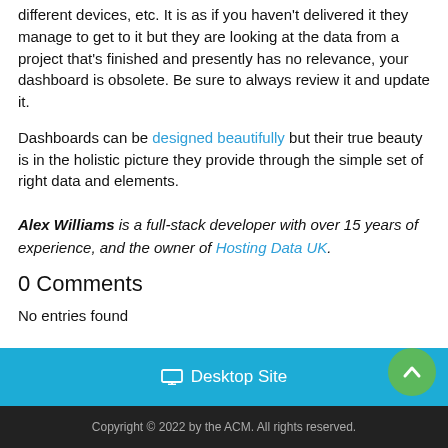different devices, etc. It is as if you haven't delivered it they manage to get to it but they are looking at the data from a project that's finished and presently has no relevance, your dashboard is obsolete. Be sure to always review it and update it.
Dashboards can be designed beautifully but their true beauty is in the holistic picture they provide through the simple set of right data and elements.
Alex Williams is a full-stack developer with over 15 years of experience, and the owner of Hosting Data UK.
0 Comments
No entries found
Desktop Site
Copyright © 2022 by the ACM. All rights reserved.